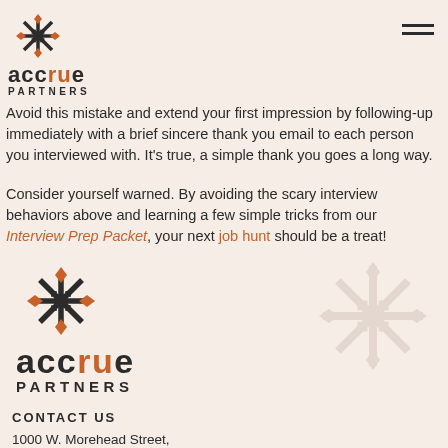[Figure (logo): Accrue Partners logo with snowflake/star icon, 'accrue' text in dark with 'ru' in orange, 'PARTNERS' in small caps below]
Avoid this mistake and extend your first impression by following-up immediately with a brief sincere thank you email to each person you interviewed with. It's true, a simple thank you goes a long way.
Consider yourself warned. By avoiding the scary interview behaviors above and learning a few simple tricks from our Interview Prep Packet, your next job hunt should be a treat!
[Figure (logo): Accrue Partners larger logo with snowflake icon, 'accrue' in bold dark with 'ru' in orange, 'PARTNERS' spaced below; watermark snowflake pattern in background]
CONTACT US
1000 W. Morehead Street,
Suite 200, Charlotte, NC 28208